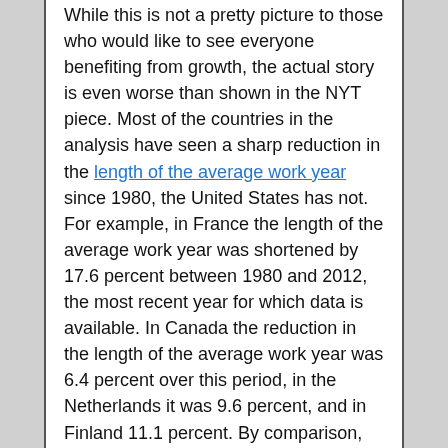While this is not a pretty picture to those who would like to see everyone benefiting from growth, the actual story is even worse than shown in the NYT piece. Most of the countries in the analysis have seen a sharp reduction in the length of the average work year since 1980, the United States has not. For example, in France the length of the average work year was shortened by 17.6 percent between 1980 and 2012, the most recent year for which data is available. In Canada the reduction in the length of the average work year was 6.4 percent over this period, in the Netherlands it was 9.6 percent, and in Finland 11.1 percent. By comparison, the average work year shrank by just 1.3 percent in the United States.